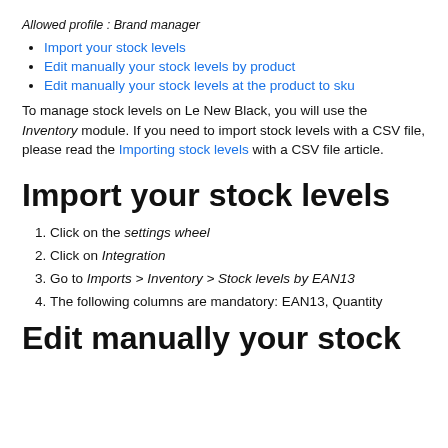Allowed profile : Brand manager
Import your stock levels
Edit manually your stock levels by product
Edit manually your stock levels at the product to sku
To manage stock levels on Le New Black, you will use the Inventory module. If you need to import stock levels with a CSV file, please read the Importing stock levels with a CSV file article.
Import your stock levels
Click on the settings wheel
Click on Integration
Go to Imports > Inventory > Stock levels by EAN13
The following columns are mandatory: EAN13, Quantity
Edit manually your stock